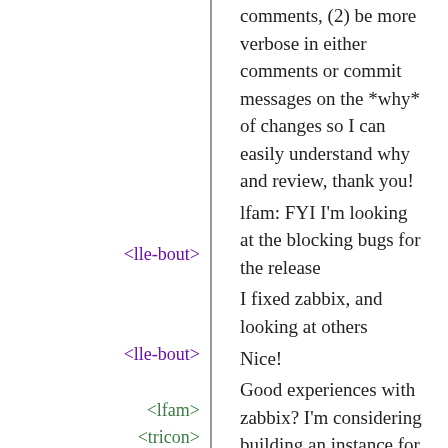comments, (2) be more verbose in either comments or commit messages on the *why* of changes so I can easily understand why and review, thank you!
<lle-bout> lfam: FYI I'm looking at the blocking bugs for the release
<lle-bout> I fixed zabbix, and looking at others
<lfam> Nice!
<tricon> Good experiences with zabbix? I'm considering building an instance for